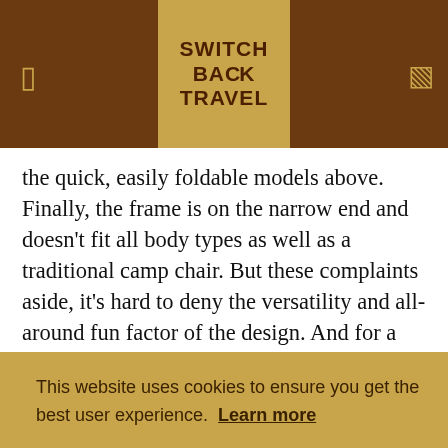SWITCH BACK TRAVEL
the quick, easily foldable models above. Finally, the frame is on the narrow end and doesn't fit all body types as well as a traditional camp chair. But these complaints aside, it's hard to deny the versatility and all-around fun factor of the design. And for a cheaper option from NEMO that reclines but doesn't swing, check out their new Moonlight below... Read in-depth review
This website uses cookies to ensure you get the best user experience. Learn more
Got it!
Camping Chair